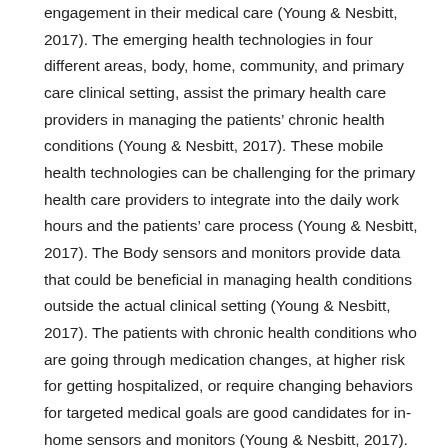engagement in their medical care (Young & Nesbitt, 2017). The emerging health technologies in four different areas, body, home, community, and primary care clinical setting, assist the primary health care providers in managing the patients' chronic health conditions (Young & Nesbitt, 2017). These mobile health technologies can be challenging for the primary health care providers to integrate into the daily work hours and the patients' care process (Young & Nesbitt, 2017). The Body sensors and monitors provide data that could be beneficial in managing health conditions outside the actual clinical setting (Young & Nesbitt, 2017). The patients with chronic health conditions who are going through medication changes, at higher risk for getting hospitalized, or require changing behaviors for targeted medical goals are good candidates for in-home sensors and monitors (Young & Nesbitt, 2017). These monitoring at-home devices include blood glucose monitors, sleep devices such as CPAP, O2 saturation monitoring device, pulse oximeter, blood pressure cuffs, vital signs, daily activity pattern monitors, medication sensors, location monitors,